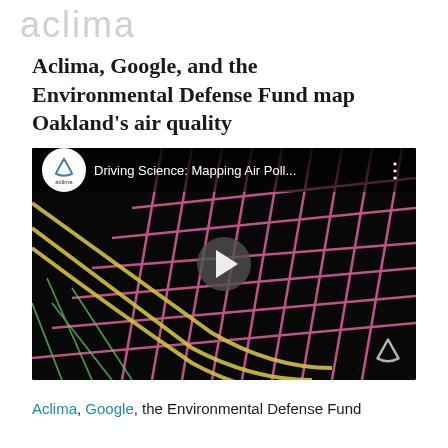aclima
Aclima, Google, and the Environmental Defense Fund map Oakland’s air quality
[Figure (screenshot): YouTube video thumbnail showing a 3D aerial map visualization of Oakland street grid with air pollution data overlaid in pink/yellow heat map colors on a dark background. Video title reads 'Driving Science: Mapping Air Poll...' with Aclima logo badge in top-left corner and play button in center.]
Aclima, Google, the Environmental Defense Fund